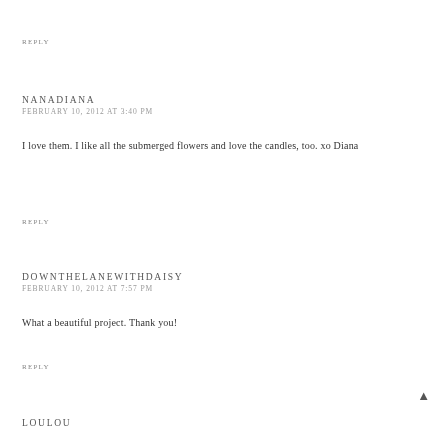REPLY
NANADIANA
FEBRUARY 10, 2012 AT 3:40 PM
I love them. I like all the submerged flowers and love the candles, too. xo Diana
REPLY
DOWNTHELANEWITHDAISY
FEBRUARY 10, 2012 AT 7:57 PM
What a beautiful project. Thank you!
REPLY
LOULOU